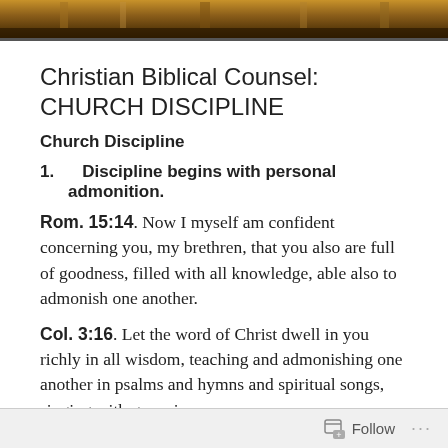[Figure (photo): Top portion of a photo showing books or a Bible, warm brown/amber tones, partially cropped]
Christian Biblical Counsel: CHURCH DISCIPLINE
Church Discipline
1.   Discipline begins with personal admonition.
Rom. 15:14. Now I myself am confident concerning you, my brethren, that you also are full of goodness, filled with all knowledge, able also to admonish one another.
Col. 3:16. Let the word of Christ dwell in you richly in all wisdom, teaching and admonishing one another in psalms and hymns and spiritual songs, singing with grace in your
Follow ...